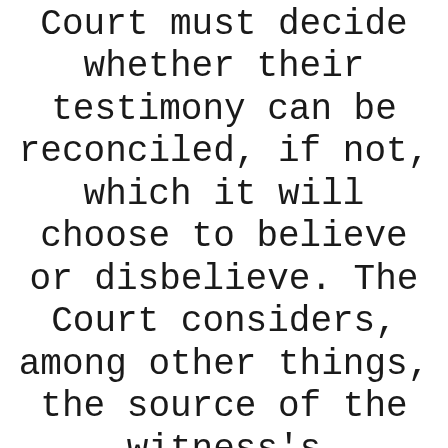Court must decide whether their testimony can be reconciled, if not, which it will choose to believe or disbelieve. The Court considers, among other things, the source of the witness's information, any bias, prejudice, or interest, as well as their